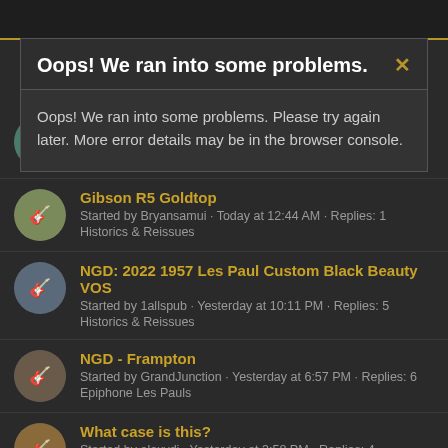Oops! We ran into some problems.
Oops! We ran into some problems. Please try again later. More error details may be in the browser console.
Some Vintage Paradise. | Started by grayn · 57 minutes ago · Replies: 0 | Other Single-Cuts
Gibson R5 Goldtop | Started by Bryansamui · Today at 12:44 AM · Replies: 1 | Historics & Reissues
NGD: 2022 1957 Les Paul Custom Black Beauty VOS | Started by 1allspub · Yesterday at 10:11 PM · Replies: 5 | Historics & Reissues
NGD - Frampton | Started by GrandJunction · Yesterday at 6:57 PM · Replies: 6 | Epiphone Les Pauls
What case is this? | Started by alexvdi · Yesterday at 3:58 PM · Replies: 4 | Historics & Reissues